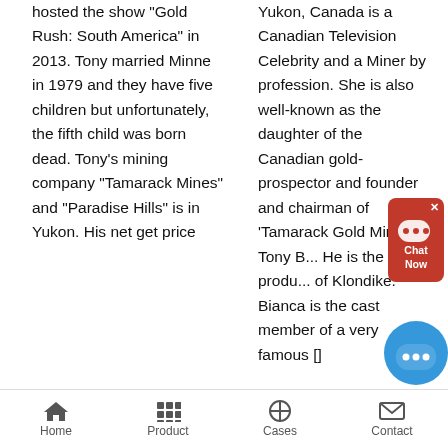hosted the show "Gold Rush: South America" in 2013. Tony married Minne in 1979 and they have five children but unfortunately, the fifth child was born dead. Tony's mining company "Tamarack Mines" and "Paradise Hills" is in Yukon. His net get price
Yukon, Canada is a Canadian Television Celebrity and a Miner by profession. She is also well-known as the daughter of the Canadian gold-prospector and founder and chairman of 'Tamarack Gold Mines', Tony B... He is the produ... of Klondike. Bianca is the cast member of a very famous []
[Figure (other): Chat widget with red background showing chat bubble icon and 'Chat Now' text, plus a blue circular chat bubble button below]
Home   Product   Cases   Contact